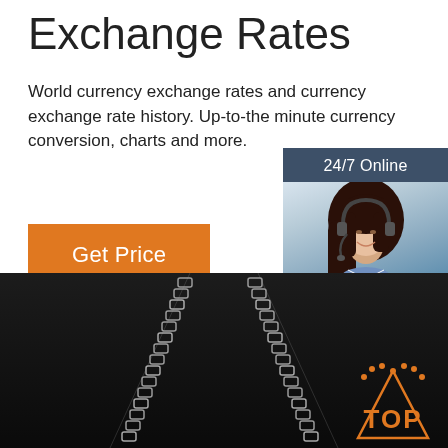Exchange Rates
World currency exchange rates and currency exchange rate history. Up-to-the minute currency conversion, charts and more.
Get Price
[Figure (photo): Sidebar advertisement with a woman wearing a headset (customer support agent), dark blue background, '24/7 Online' header, 'Click here for free chat!' text, and an orange 'QUOTATION' button.]
[Figure (photo): Dark background product photo showing two silver box chain necklaces in a V shape, with an orange 'TOP' badge logo in the bottom right corner.]